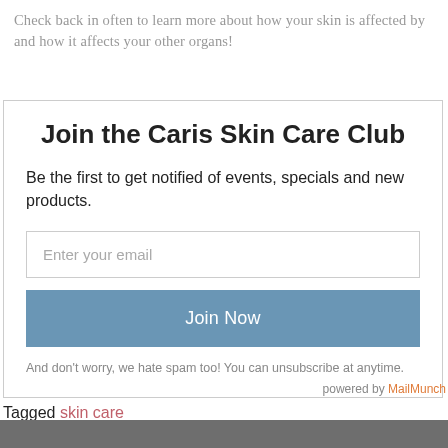Check back in often to learn more about how your skin is affected by and how it affects your other organs!
Join the Caris Skin Care Club
Be the first to get notified of events, specials and new products.
Enter your email
Join Now
And don’t worry, we hate spam too! You can unsubscribe at anytime.
powered by MailMunch
Tagged skin care